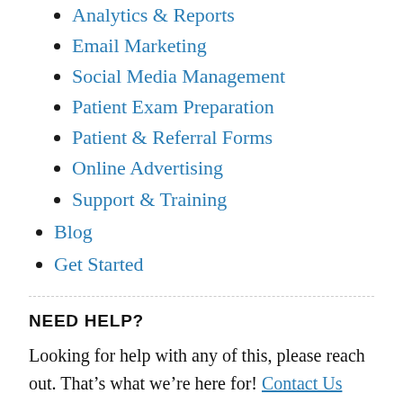Analytics & Reports
Email Marketing
Social Media Management
Patient Exam Preparation
Patient & Referral Forms
Online Advertising
Support & Training
Blog
Get Started
NEED HELP?
Looking for help with any of this, please reach out. That’s what we’re here for! Contact Us Today